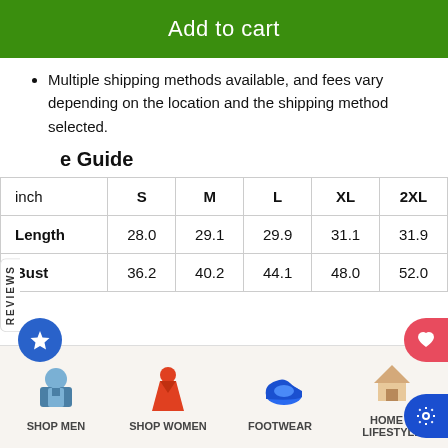Add to cart
Multiple shipping methods available, and fees vary depending on the location and the shipping method selected.
e Guide
| inch | S | M | L | XL | 2XL |
| --- | --- | --- | --- | --- | --- |
| Length | 28.0 | 29.1 | 29.9 | 31.1 | 31.9 |
| Bust | 36.2 | 40.2 | 44.1 | 48.0 | 52.0 |
SHOP MEN   SHOP WOMEN   FOOTWEAR   HOME & LIFESTYLE